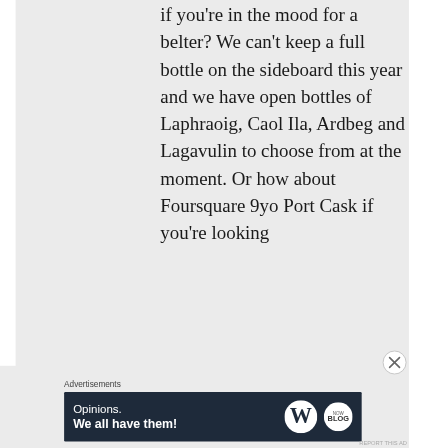if you're in the mood for a belter? We can't keep a full bottle on the sideboard this year and we have open bottles of Laphraoig, Caol Ila, Ardbeg and Lagavulin to choose from at the moment. Or how about Foursquare 9yo Port Cask if you're looking
Advertisements
[Figure (screenshot): WordPress advertisement banner with dark navy background. Left side shows text: 'Opinions. We all have them!' Right side shows WordPress 'W' logo icon and a circular blog icon.]